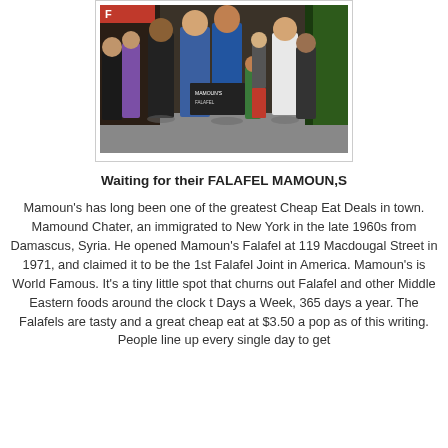[Figure (photo): A crowd of people standing on a sidewalk outside a restaurant/shop, waiting in line. Taken from behind. People of various clothing visible. Signs partially visible in background.]
Waiting for their FALAFEL MAMOUN,S
Mamoun's has long been one of the greatest Cheap Eat Deals in town. Mamound Chater, an immigrated to New York in the late 1960s from Damascus, Syria. He opened Mamoun's Falafel at 119 Macdougal Street in 1971, and claimed it to be the 1st Falafel Joint in America. Mamoun's is World Famous. It's a tiny little spot that churns out Falafel and other Middle Eastern foods around the clock t Days a Week, 365 days a year. The Falafels are tasty and a great cheap eat at $3.50 a pop as of this writing. People line up every single day to get